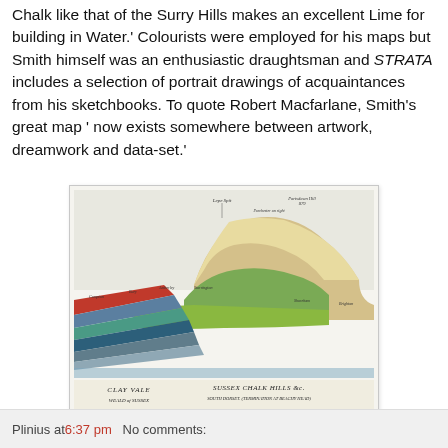Chalk like that of the Surry Hills makes an excellent Lime for building in Water.' Colourists were employed for his maps but Smith himself was an enthusiastic draughtsman and STRATA includes a selection of portrait drawings of acquaintances from his sketchbooks. To quote Robert Macfarlane, Smith's great map ' now exists somewhere between artwork, dreamwork and data-set.'
[Figure (illustration): A geological cross-section illustration showing Clay Vale and Sussex Chalk Hills in South Dorset, with coloured strata layers and landscape features, from William Smith's STRATA.]
Plinius at 6:37 pm   No comments: